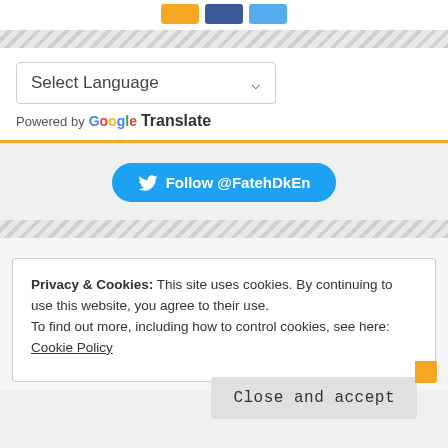[Figure (other): Three colored icon buttons: yellow, dark blue, light blue]
Select Language
Powered by Google Translate
[Figure (other): Twitter Follow button: Follow @FatehDkEn]
Privacy & Cookies: This site uses cookies. By continuing to use this website, you agree to their use. To find out more, including how to control cookies, see here: Cookie Policy
Close and accept